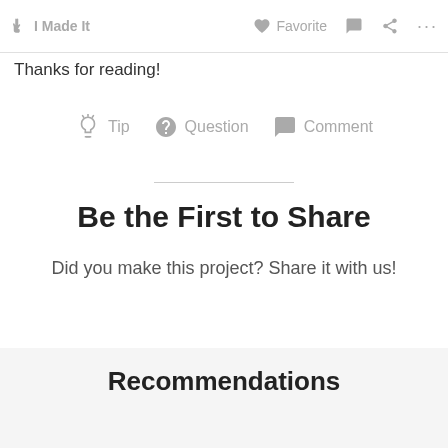I Made It   Favorite   Comment   Share   ...
Thanks for reading!
Tip   Question   Comment
Be the First to Share
Did you make this project? Share it with us!
I Made It!
Recommendations